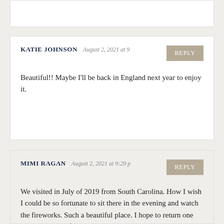[truncated comment box at top]
KATIE JOHNSON August 2, 2021 at 9 REPLY
Beautiful!! Maybe I'll be back in England next year to enjoy it.
MIMI RAGAN August 2, 2021 at 9:29 p REPLY
We visited in July of 2019 from South Carolina. How I wish I could be so fortunate to sit there in the evening and watch the fireworks. Such a beautiful place. I hope to return one day. Thank you for this blog. You